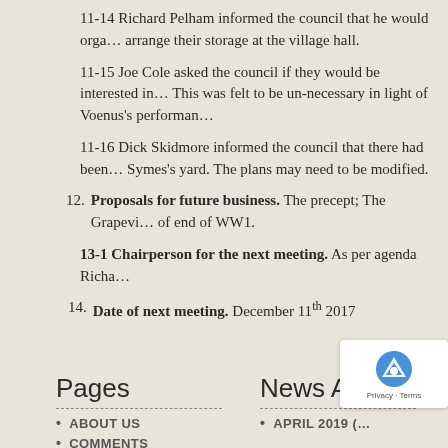11-14 Richard Pelham informed the council that he would organise arrange their storage at the village hall.
11-15 Joe Cole asked the council if they would be interested in... This was felt to be un-necessary in light of Voenus's performance...
11-16 Dick Skidmore informed the council that there had been... Symes's yard. The plans may need to be modified.
12. Proposals for future business. The precept; The Grapevine... of end of WW1.
13-1 Chairperson for the next meeting. As per agenda Richard...
14. Date of next meeting. December 11th 2017
Signed Chairman.
Pages
ABOUT US
COMMENTS
News Articles
APRIL 2019